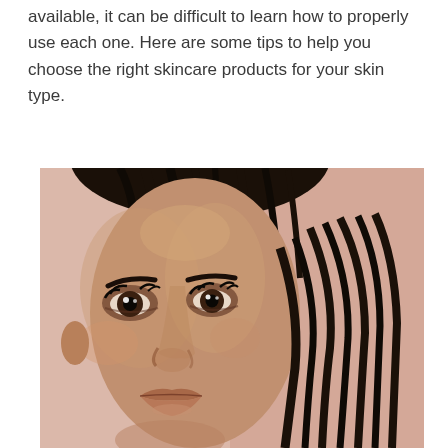available, it can be difficult to learn how to properly use each one. Here are some tips to help you choose the right skincare products for your skin type.
[Figure (photo): Close-up beauty photo of a woman's face with dark hair pulled back, wearing subtle eye makeup and nude lip color, against a soft pink/beige background. The image shows roughly the upper half of the face centered on the left side.]